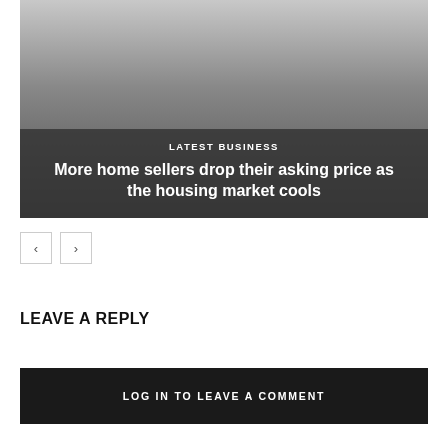[Figure (photo): Hero image with dark gradient overlay showing a news article teaser]
LATEST BUSINESS
More home sellers drop their asking price as the housing market cools
< >
LEAVE A REPLY
LOG IN TO LEAVE A COMMENT